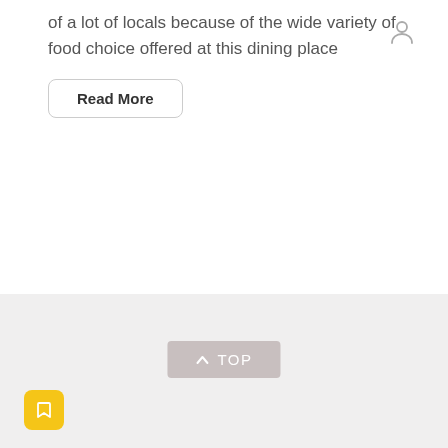of a lot of locals because of the wide variety of food choice offered at this dining place
Read More
[Figure (illustration): User/person icon (silhouette) in grey, top right corner]
[Figure (illustration): Grey background section with a 'TOP' button (upward chevron icon and text) in the center, and a yellow bookmark icon button on the lower left]
TOP
[Figure (illustration): Yellow square bookmark icon button]